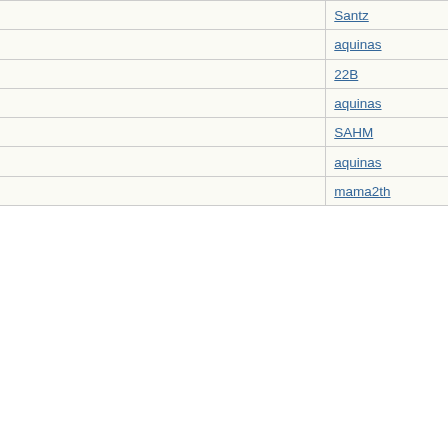| Subject | Author |
| --- | --- |
| Re: Not-really-brag-so-much-as-quirky-anecdote thread | Santz |
| Re: Not-really-brag-so-much-as-quirky-anecdote thread | aquinas |
| Re: Not-really-brag-so-much-as-quirky-anecdote thread | 22B |
| Re: Not-really-brag-so-much-as-quirky-anecdote thread | aquinas |
| Re: Not-really-brag-so-much-as-quirky-anecdote thread | SAHM |
| Re: Not-really-brag-so-much-as-quirky-anecdote thread | aquinas |
| Re: Not-really-brag-so-much-as-quirky-anecdote thread | mama2th |